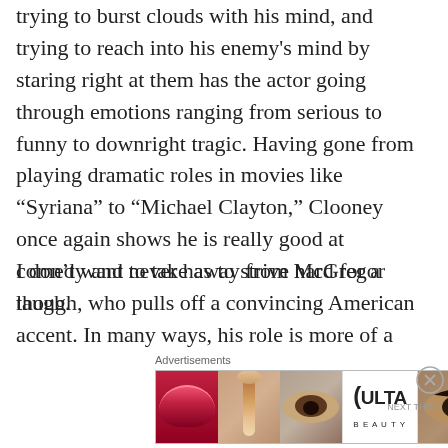trying to burst clouds with his mind, and trying to reach into his enemy's mind by staring right at them has the actor going through emotions ranging from serious to funny to downright tragic. Having gone from playing dramatic roles in movies like “Syriana” to “Michael Clayton,” Clooney once again shows he is really good at comedy and never has to strive hard for a laugh.
I don’t want to take away from McGregor though, who pulls off a convincing American accent. In many ways, his role is more of a
Advertisements
[Figure (photo): ULTA beauty advertisement banner showing close-up images of lips, makeup brush, eye with eyebrow, ULTA logo, dramatic eye makeup, and SHOP NOW text]